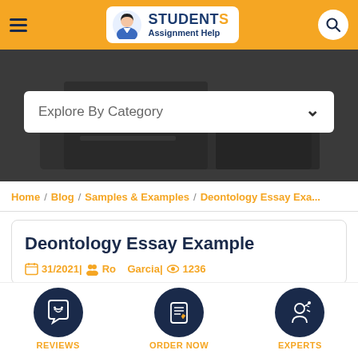Students Assignment Help
[Figure (screenshot): Hero banner with dark overlay showing desk/laptop background and 'Explore By Category' dropdown]
Home / Blog / Samples & Examples / Deontology Essay Exa...
Deontology Essay Example
31/2021 | Ro Garcia | 1236
REVIEWS | ORDER NOW | EXPERTS